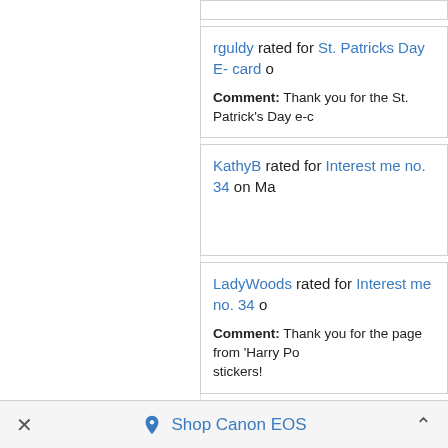rguldy rated for St. Patricks Day E- card o[n...] Comment: Thank you for the St. Patrick's Day e-c[ard...]
KathyB rated for Interest me no. 34 on Ma[r...]
LadyWoods rated for Interest me no. 34 o[n...] Comment: Thank you for the page from 'Harry Po[tter...] stickers!
LadyWoods rated for Easter Card Swap o[n...]
Shop Canon EOS